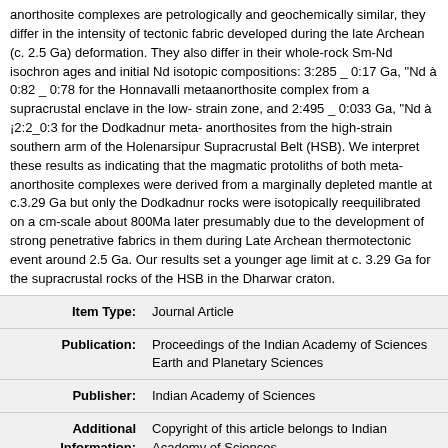anorthosite complexes are petrologically and geochemically similar, they differ in the intensity of tectonic fabric developed during the late Archean (c. 2.5 Ga) deformation. They also differ in their whole-rock Sm-Nd isochron ages and initial Nd isotopic compositions: 3:285 _ 0:17 Ga, "Nd à 0:82 _ 0:78 for the Honnavalli metaanorthosite complex from a supracrustal enclave in the low-strain zone, and 2:495 _ 0:033 Ga, "Nd à ¡2:2_0:3 for the Dodkadnur meta-anorthosites from the high-strain southern arm of the Holenarsipur Supracrustal Belt (HSB). We interpret these results as indicating that the magmatic protoliths of both meta-anorthosite complexes were derived from a marginally depleted mantle at c.3.29 Ga but only the Dodkadnur rocks were isotopically reequilibrated on a cm-scale about 800Ma later presumably due to the development of strong penetrative fabrics in them during Late Archean thermotectonic event around 2.5 Ga. Our results set a younger age limit at c. 3.29 Ga for the supracrustal rocks of the HSB in the Dharwar craton.
| Field | Value |
| --- | --- |
| Item Type: | Journal Article |
| Publication: | Proceedings of the Indian Academy of Sciences Earth and Planetary Sciences |
| Publisher: | Indian Academy of Sciences |
| Additional Information: | Copyright of this article belongs to Indian Academy of Sciences. |
| Keywords: | Archean;anorthosite;Dharwar craton;Sm-Nd;Geochronology |
| Department/Centre: | Division of Chemical Sciences > Inorganic & Physical Chemistry |
| Date Deposited: | 09 Sep 2004 |